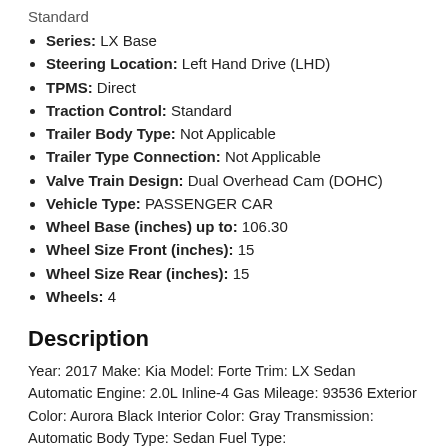Standard
Series: LX Base
Steering Location: Left Hand Drive (LHD)
TPMS: Direct
Traction Control: Standard
Trailer Body Type: Not Applicable
Trailer Type Connection: Not Applicable
Valve Train Design: Dual Overhead Cam (DOHC)
Vehicle Type: PASSENGER CAR
Wheel Base (inches) up to: 106.30
Wheel Size Front (inches): 15
Wheel Size Rear (inches): 15
Wheels: 4
Description
Year: 2017 Make: Kia Model: Forte Trim: LX Sedan Automatic Engine: 2.0L Inline-4 Gas Mileage: 93536 Exterior Color: Aurora Black Interior Color: Gray Transmission: Automatic Body Type: Sedan Fuel Type: